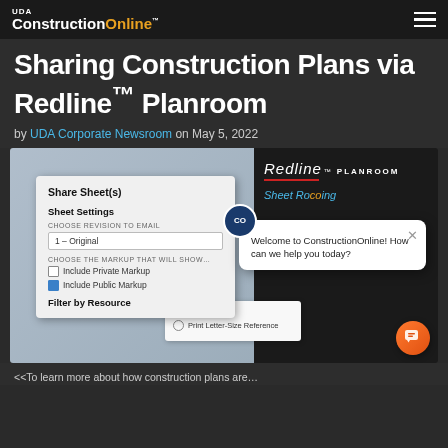UDA ConstructionOnline™
Sharing Construction Plans via Redline™ Planroom
by UDA Corporate Newsroom on May 5, 2022
[Figure (screenshot): Screenshot of UDA ConstructionOnline Redline Planroom interface showing Share Sheet(s) dialog, Sheet Settings with revision dropdown (1 - Original), Include Private Markup checkbox (unchecked), Include Public Markup checkbox (checked), Filter by Resource label, print options (Print Full Size selected, Print Letter-Size Reference), a chat popup saying 'Welcome to ConstructionOnline! How can we help you today?', and an orange chat button.]